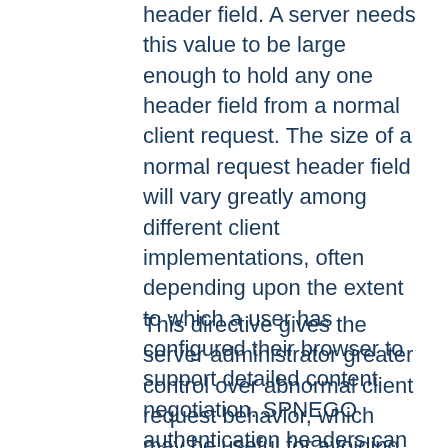header field. A server needs this value to be large enough to hold any one header field from a normal client request. The size of a normal request header field will vary greatly among different client implementations, often depending upon the extent to which a user has configured their browser to support detailed content negotiation. SPNEGO authentication headers can be up to 12392 bytes.
This directive gives the server administrator greater control over abnormal client request behavior, which may be useful for avoiding some forms of denial-of-service